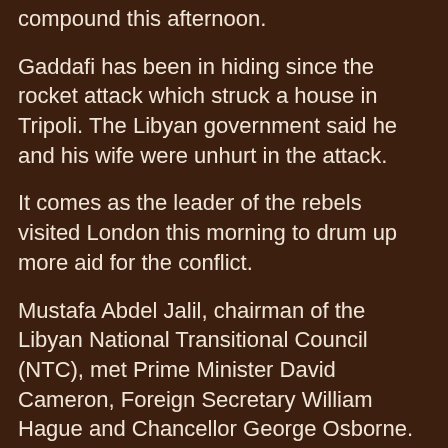compound this afternoon.
Gaddafi has been in hiding since the rocket attack which struck a house in Tripoli. The Libyan government said he and his wife were unhurt in the attack.
It comes as the leader of the rebels visited London this morning to drum up more aid for the conflict.
Mustafa Abdel Jalil, chairman of the Libyan National Transitional Council (NTC), met Prime Minister David Cameron, Foreign Secretary William Hague and Chancellor George Osborne.
The Foreign Office said the sides discussed providing more non-lethal equipment to the rebels and opening a permanent NTC office in London.
Britain has already sent body armour and